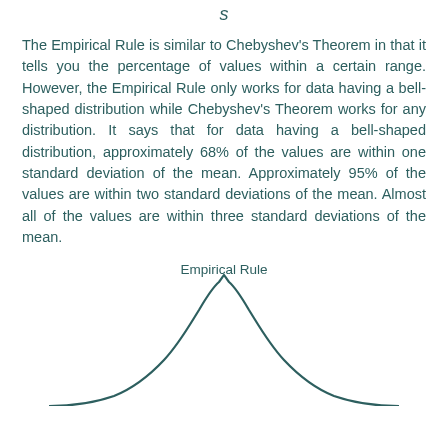s
The Empirical Rule is similar to Chebyshev's Theorem in that it tells you the percentage of values within a certain range. However, the Empirical Rule only works for data having a bell-shaped distribution while Chebyshev's Theorem works for any distribution. It says that for data having a bell-shaped distribution, approximately 68% of the values are within one standard deviation of the mean. Approximately 95% of the values are within two standard deviations of the mean. Almost all of the values are within three standard deviations of the mean.
[Figure (continuous-plot): Bell-shaped normal distribution curve illustrating the Empirical Rule, with title 'Empirical Rule' above. The curve is a smooth symmetric bell curve shown partially (cut off at the bottom).]